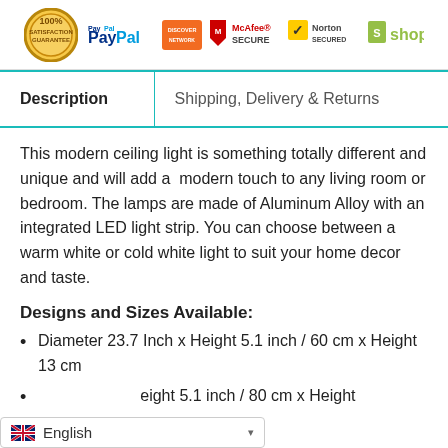[Figure (infographic): Trust badges bar: 100% Guarantee seal, PayPal logo, Discover Network logo, McAfee Secure logo, Norton Secured logo, Shopify logo]
| Description | Shipping, Delivery & Returns |
| --- | --- |
This modern ceiling light is something totally different and unique and will add a  modern touch to any living room or bedroom. The lamps are made of Aluminum Alloy with an integrated LED light strip. You can choose between a warm white or cold white light to suit your home decor and taste.
Designs and Sizes Available:
Diameter 23.7 Inch x Height 5.1 inch / 60 cm x Height 13 cm
…eight 5.1 inch / 80 cm x Height
[Figure (screenshot): Language selector bar showing UK flag and 'English' with dropdown arrow]